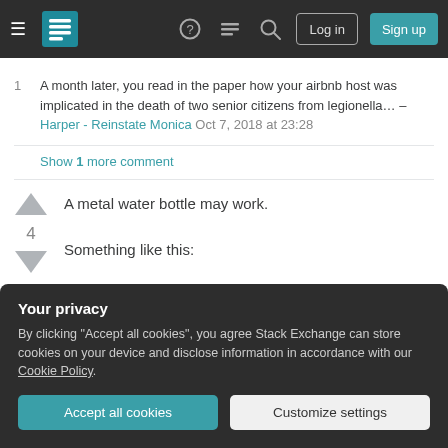Stack Exchange navigation bar with hamburger menu, logo, help, chat, search icons, Log in and Sign up buttons
1  A month later, you read in the paper how your airbnb host was implicated in the death of two senior citizens from legionella... – Harper - Reinstate Monica Oct 7, 2018 at 23:28
Show 1 more comment
A metal water bottle may work.
4  Something like this:
Your privacy
By clicking "Accept all cookies", you agree Stack Exchange can store cookies on your device and disclose information in accordance with our Cookie Policy.
Accept all cookies   Customize settings